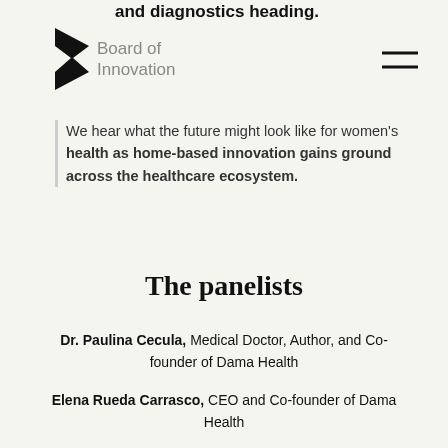and diagnostics heading.
[Figure (logo): Board of Innovation logo with stylized B icon in black and grey text]
We hear what the future might look like for women's health as home-based innovation gains ground across the healthcare ecosystem.
The panelists
Dr. Paulina Cecula, Medical Doctor, Author, and Co-founder of Dama Health
Elena Rueda Carrasco, CEO and Co-founder of Dama Health